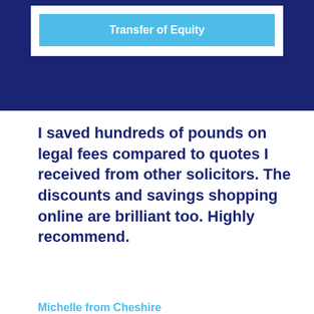[Figure (screenshot): Dark navy blue background section with a white card containing a light blue 'Transfer of Equity' button]
I saved hundreds of pounds on legal fees compared to quotes I received from other solicitors. The discounts and savings shopping online are brilliant too. Highly recommend.
Michelle from Cheshire